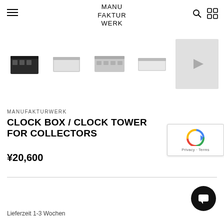MANU FAKTUR WERK
[Figure (photo): Product thumbnail carousel showing five views of the Clock Box / Clock Tower: first image is dark/black box, followed by four lighter/white/grey variants, last thumbnail has a play/next arrow overlay]
MANUFAKTURWERK
CLOCK BOX / CLOCK TOWER FOR COLLECTORS
¥20,600
Lieferzeit 1-3 Wochen